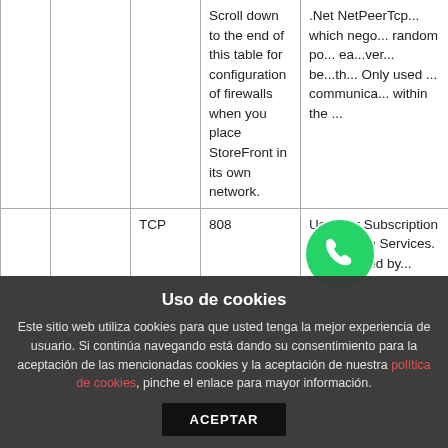|  |  | Protocol | Port | Description |
| --- | --- | --- | --- | --- |
|  |  |  | Scroll down to the end of this table for configuration of firewalls when you place StoreFront in its own network. | .Net NetPeerTcp... which nego... random po... ea...ver... be...th... Only used ... communica... within the ... |
|  |  | TCP | 808 | Used for Subscription Replication Services. N... installed by... Und... |
Uso de cookies
Este sitio web utiliza cookies para que usted tenga la mejor experiencia de usuario. Si continúa navegando está dando su consentimiento para la aceptación de las mencionadas cookies y la aceptación de nuestra política de cookies, pinche el enlace para mayor información.